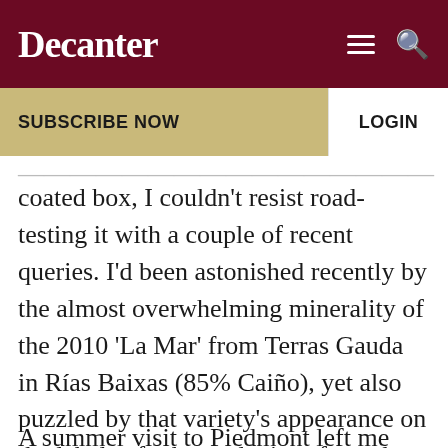Decanter
SUBSCRIBE NOW
LOGIN
coated box, I couldn't resist road-testing it with a couple of recent queries. I'd been astonished recently by the almost overwhelming minerality of the 2010 'La Mar' from Terras Gauda in Rías Baixas (85% Caiño), yet also puzzled by that variety's appearance on the labels of other red wines from the same area. Ah, I see: those reds should be labeled Borraçal.
A summer visit to Piedmont left me simultaneously